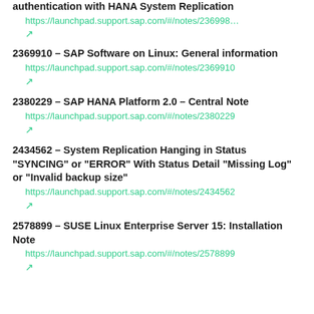authentication with HANA System Replication
https://launchpad.support.sap.com/#/notes/236998…
↗
2369910 - SAP Software on Linux: General information
https://launchpad.support.sap.com/#/notes/2369910
↗
2380229 - SAP HANA Platform 2.0 - Central Note
https://launchpad.support.sap.com/#/notes/2380229
↗
2434562 - System Replication Hanging in Status "SYNCING" or "ERROR" With Status Detail "Missing Log" or "Invalid backup size"
https://launchpad.support.sap.com/#/notes/2434562
↗
2578899 - SUSE Linux Enterprise Server 15: Installation Note
https://launchpad.support.sap.com/#/notes/2578899
↗